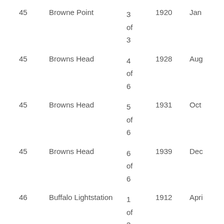|  |  |  |  |  |  |
| --- | --- | --- | --- | --- | --- |
| 45 | Browne Point | 3
of
3 | 1920 | Jan | 1928 |
| 45 | Browns Head | 4
of
6 | 1928 | Aug | 1931 |
| 45 | Browns Head | 5
of
6 | 1931 | Oct | 1939 |
| 45 | Browns Head | 6
of
6 | 1939 | Dec | 1946 |
| 46 | Buffalo Lightstation | 1
of
3 | 1912 | Apri | 1914 |
| 46 | Buffalo Lightstation | 2
of
3 | 1914 | Nov | 1931 |